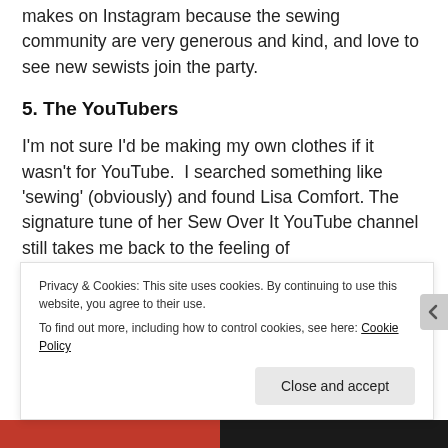makes on Instagram because the sewing community are very generous and kind, and love to see new sewists join the party.
5. The YouTubers
I'm not sure I'd be making my own clothes if it wasn't for YouTube.  I searched something like 'sewing' (obviously) and found Lisa Comfort. The signature tune of her Sew Over It YouTube channel still takes me back to the feeling of
Privacy & Cookies: This site uses cookies. By continuing to use this website, you agree to their use.
To find out more, including how to control cookies, see here: Cookie Policy
Close and accept